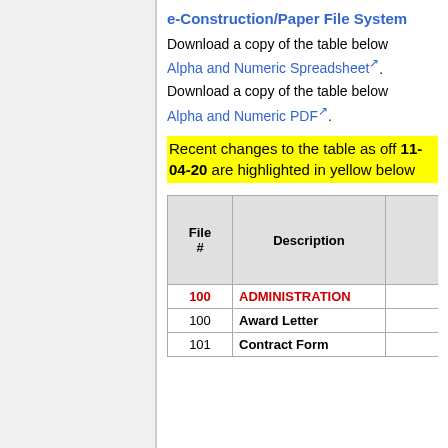e-Construction/Paper File System
Download a copy of the table below
Alpha and Numeric Spreadsheet.
Download a copy of the table below
Alpha and Numeric PDF.
Recent changes to the table as off 11-04-20 are highlighted in yellow below
| File # | Description |  |
| --- | --- | --- |
| 100 | ADMINISTRATION |  |
| 100 | Award Letter |  |
| 101 | Contract Form |  |